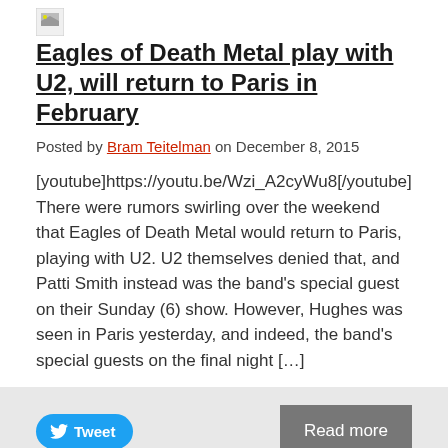[Figure (photo): Small broken/placeholder image thumbnail icon]
Eagles of Death Metal play with U2, will return to Paris in February
Posted by Bram Teitelman on December 8, 2015
[youtube]https://youtu.be/Wzi_A2cyWu8[/youtube] There were rumors swirling over the weekend that Eagles of Death Metal would return to Paris, playing with U2. U2 themselves denied that, and Patti Smith instead was the band's special guest on their Sunday (6) show. However, Hughes was seen in Paris yesterday, and indeed, the band's special guests on the final night [...]
Tweet
Read more
[Figure (photo): Small broken/placeholder image thumbnail icon]
Eagles of Death Metal to return to Paris with U2